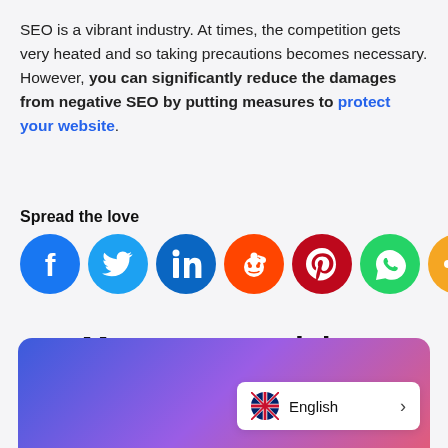SEO is a vibrant industry. At times, the competition gets very heated and so taking precautions becomes necessary. However, you can significantly reduce the damages from negative SEO by putting measures to protect your website.
Spread the love
[Figure (infographic): Row of 7 social share icon buttons: Facebook (dark blue), Twitter (light blue), LinkedIn (blue), Reddit (orange), Pinterest (red), WhatsApp (green), Share (orange)]
More great articles
[Figure (illustration): Gradient card background (blue to purple to red) with English language switcher overlay showing UK flag, 'English' text, and a right-arrow chevron]